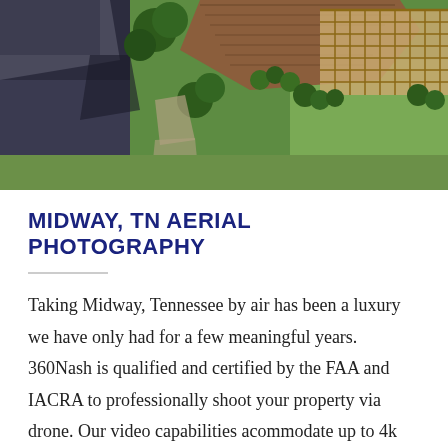[Figure (photo): Aerial drone photograph looking down at residential properties with rooftops, driveway, green lawn, trees, and a patio/pergola structure visible from above.]
MIDWAY, TN AERIAL PHOTOGRAPHY
Taking Midway, Tennessee by air has been a luxury we have only had for a few meaningful years. 360Nash is qualified and certified by the FAA and IACRA to professionally shoot your property via drone. Our video capabilities acommodate up to 4k resolution, and RAW still imagery makes sure that we get the shot you